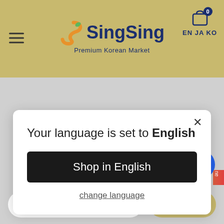[Figure (screenshot): SingSing Premium Korean Market website header with logo, hamburger menu, and cart icon showing 0 items, with EN JA KO language options]
Your language is set to English
Shop in English
change language
Add to cart